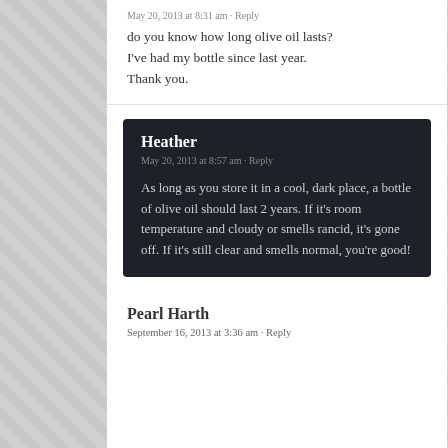May 20, 2013 at 8:31 am · Reply
do you know how long olive oil lasts? I've had my bottle since last year. Thank you.
Heather
May 20, 2013 at 8:57 am · Reply
As long as you store it in a cool, dark place, a bottle of olive oil should last 2 years. If it's room temperature and cloudy or smells rancid, it's gone off. If it's still clear and smells normal, you're good!
Pearl Harth
September 16, 2013 at 3:36 am · Reply